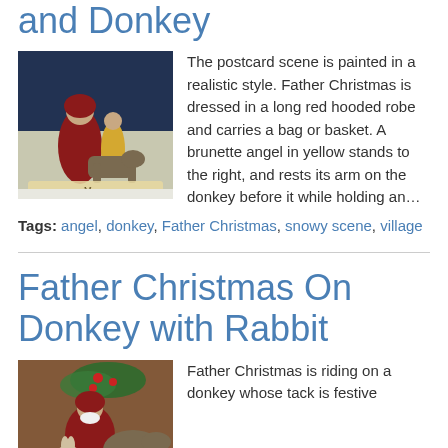and Donkey
[Figure (photo): Vintage Christmas postcard showing Father Christmas in a long red hooded robe with a brunette angel in yellow standing beside a donkey, snowy village scene, with 'Merry' text visible at bottom]
The postcard scene is painted in a realistic style. Father Christmas is dressed in a long red hooded robe and carries a bag or basket. A brunette angel in yellow stands to the right, and rests its arm on the donkey before it while holding an…
Tags: angel, donkey, Father Christmas, snowy scene, village
Father Christmas On Donkey with Rabbit
[Figure (photo): Vintage Christmas postcard showing Father Christmas riding on a donkey whose tack is festive, with a rabbit visible]
Father Christmas is riding on a donkey whose tack is festive